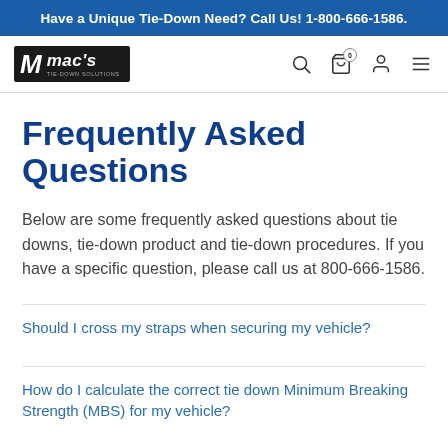Have a Unique Tie-Down Need? Call Us! 1-800-666-1586.
[Figure (logo): Mac's Tie-Down Solutions logo — white text on black background with stylized M icon]
Frequently Asked Questions
Below are some frequently asked questions about tie downs, tie-down product and tie-down procedures. If you have a specific question, please call us at 800-666-1586.
Should I cross my straps when securing my vehicle?
How do I calculate the correct tie down Minimum Breaking Strength (MBS) for my vehicle?